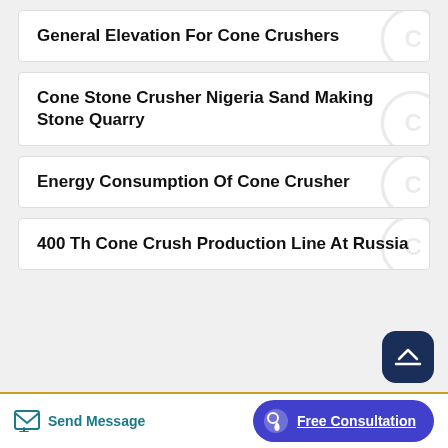General Elevation For Cone Crushers
Cone Stone Crusher Nigeria Sand Making Stone Quarry
Energy Consumption Of Cone Crusher
400 Th Cone Crush Production Line At Russia
Send Message   Free Consultation